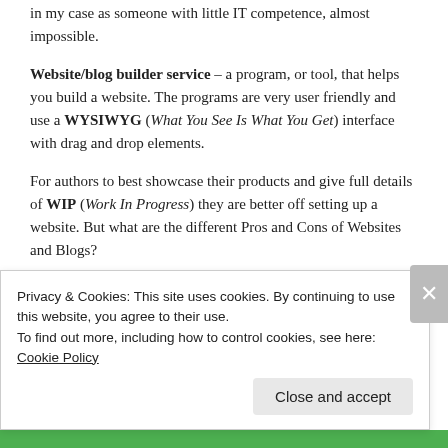in my case as someone with little IT competence, almost impossible.
Website/blog builder service – a program, or tool, that helps you build a website. The programs are very user friendly and use a WYSIWYG (What You See Is What You Get) interface with drag and drop elements.
For authors to best showcase their products and give full details of WIP (Work In Progress) they are better off setting up a website. But what are the different Pros and Cons of Websites and Blogs?
Using a free Content Management System (CMS)
Privacy & Cookies: This site uses cookies. By continuing to use this website, you agree to their use. To find out more, including how to control cookies, see here: Cookie Policy
Close and accept